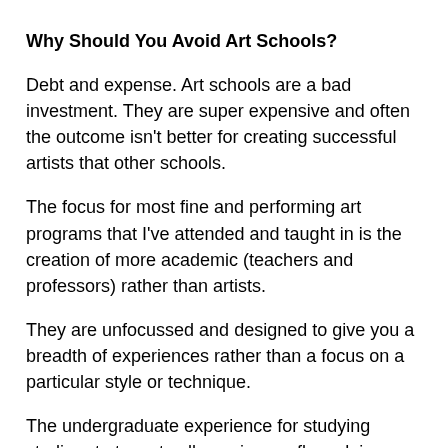Why Should You Avoid Art Schools?
Debt and expense. Art schools are a bad investment. They are super expensive and often the outcome isn't better for creating successful artists that other schools.
The focus for most fine and performing art programs that I've attended and taught in is the creation of more academic (teachers and professors) rather than artists.
They are unfocussed and designed to give you a breadth of experiences rather than a focus on a particular style or technique.
The undergraduate experience for studying studio art at most colleges is very flawed, is designed with a one size fits all kind of philosophy, and in general doesn't focus enough on one particular technique or ideology for most students because undergraduates who art majors are expected to study with a wide variety of professors with a wide variety of approaches to making art. However, if you look at the careers of these professors as artists, I think that most of